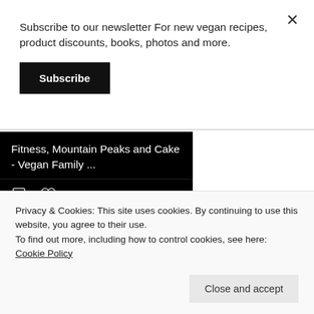Subscribe to our newsletter For new vegan recipes, product discounts, books, photos and more.
Subscribe
[Figure (screenshot): Twitter card showing 'Fitness, Mountain Peaks and Cake - Vegan Family ...' with comment and heart icons and a blue 'View more on Twitter' button]
Privacy & Cookies: This site uses cookies. By continuing to use this website, you agree to their use.
To find out more, including how to control cookies, see here: Cookie Policy
Close and accept